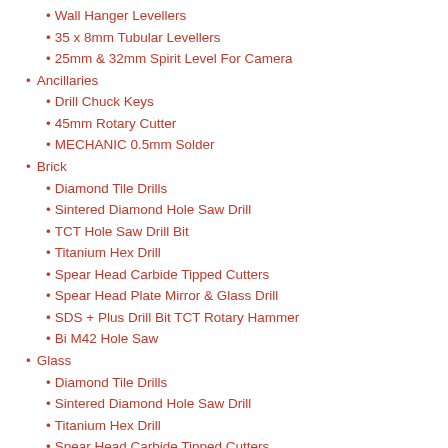Wall Hanger Levellers
35 x 8mm Tubular Levellers
25mm & 32mm Spirit Level For Camera
Ancillaries
Drill Chuck Keys
45mm Rotary Cutter
MECHANIC 0.5mm Solder
Brick
Diamond Tile Drills
Sintered Diamond Hole Saw Drill
TCT Hole Saw Drill Bit
Titanium Hex Drill
Spear Head Carbide Tipped Cutters
Spear Head Plate Mirror & Glass Drill
SDS + Plus Drill Bit TCT Rotary Hammer
Bi M42 Hole Saw
Glass
Diamond Tile Drills
Sintered Diamond Hole Saw Drill
Titanium Hex Drill
Spear Head Carbide Tipped Cutters
Spear Head Plate Mirror & Glass Drill